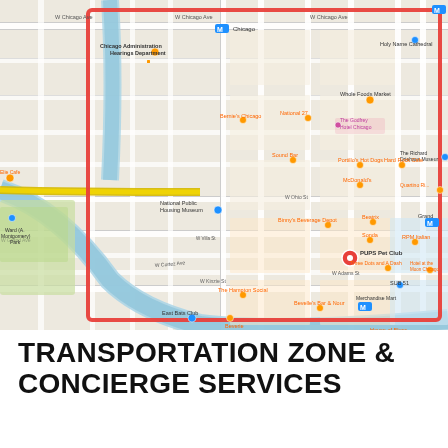[Figure (map): Google Maps screenshot showing the Near North Side / River North / West Loop area of Chicago, Illinois. A red outlined rectangle highlights the transportation zone area. A red map pin marks PUPS Pet Club location. Streets visible include W Chicago Ave, W Grand Ave, W Ohio St, W Kinzie St, W Merchandise Mart. Landmarks include National Public Housing Museum, Ward (A. Montgomery) Park, The Merchandise Mart, House of Blues Restaurant & Bar, SoulCycle LOOP, Whole Foods Market, Holy Name Cathedral, Chicago Cut Steakhouse, The Hampton Social, East Bats Club, Binny's Beverage Depot, and others. The Chicago River is shown in blue cutting diagonally through the scene.]
TRANSPORTATION ZONE & CONCIERGE SERVICES